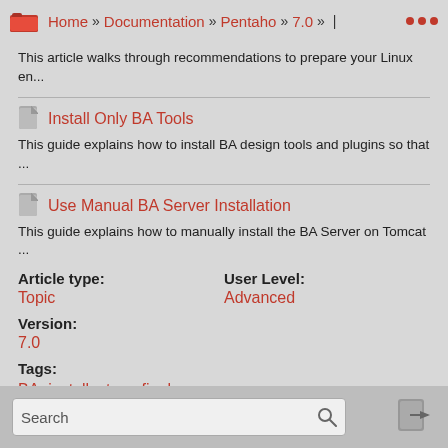Home » Documentation » Pentaho » 7.0 » |
This article walks through recommendations to prepare your Linux en...
Install Only BA Tools
This guide explains how to install BA design tools and plugins so that ...
Use Manual BA Server Installation
This guide explains how to manually install the BA Server on Tomcat ...
Article type:
Topic

User Level:
Advanced
Version:
7.0
Tags:
BA,  install,  stage:final